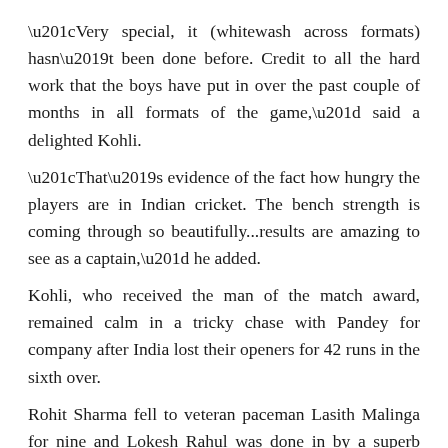“Very special, it (whitewash across formats) hasn’t been done before. Credit to all the hard work that the boys have put in over the past couple of months in all formats of the game,” said a delighted Kohli.
“That’s evidence of the fact how hungry the players are in Indian cricket. The bench strength is coming through so beautifully...results are amazing to see as a captain,” he added.
Kohli, who received the man of the match award, remained calm in a tricky chase with Pandey for company after India lost their openers for 42 runs in the sixth over.
Rohit Sharma fell to veteran paceman Lasith Malinga for nine and Lokesh Rahul was done in by a superb catch by Dasun Shanaka at short cover off Seekkuge Prasanna.
But Kohli took the attack to the opposition with 7 fours and a six during his 54-ball knock before falling to Isuru Udana with India requiring just 10 runs to win.